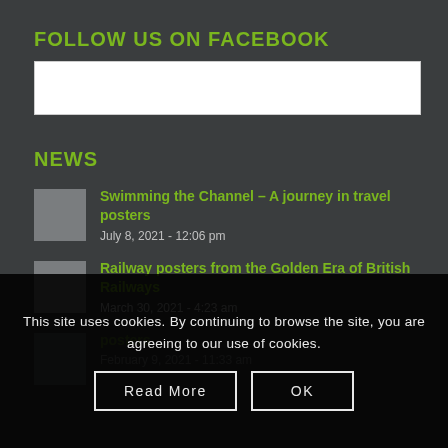FOLLOW US ON FACEBOOK
[Figure (other): White Facebook embed banner/widget placeholder]
NEWS
Swimming the Channel – A journey in travel posters
July 8, 2021 - 12:06 pm
Railway posters from the Golden Era of British Railways
March 30, 2021 - 4:23 am
posters
February [date] - 11:33 am [partially visible]
This site uses cookies. By continuing to browse the site, you are agreeing to our use of cookies.
Read More
OK